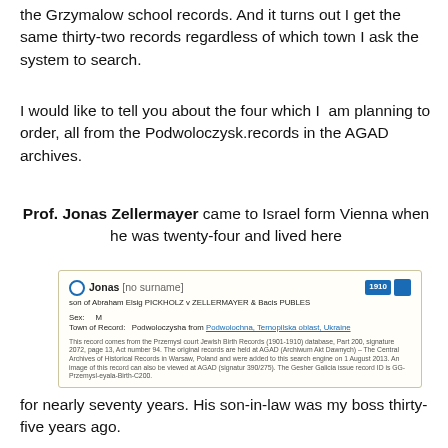the Grzymalow school records. And it turns out I get the same thirty-two records regardless of which town I ask the system to search.
I would like to tell you about the four which I am planning to order, all from the Podwoloczysk.records in the AGAD archives.
Prof. Jonas Zellermayer came to Israel form Vienna when he was twenty-four and lived here
[Figure (screenshot): A genealogy record screenshot showing Jonas (no surname), son of Abraham Elsig PICKHOLZ v ZELLERMAYER & Bacis PUBLES, Sex: M, Town of Record: Podwoloczysha from Podwolochna, Ternopilska oblast, Ukraine. Year 1910.]
for nearly seventy years. His son-in-law was my boss thirty-five years ago.
Everything we have here lists his father as Avraham, without the second name, so we now know that his father was actually Avraham Yitzhak. One odd thing with this family - we know much about Avraham's family, but not his parents'